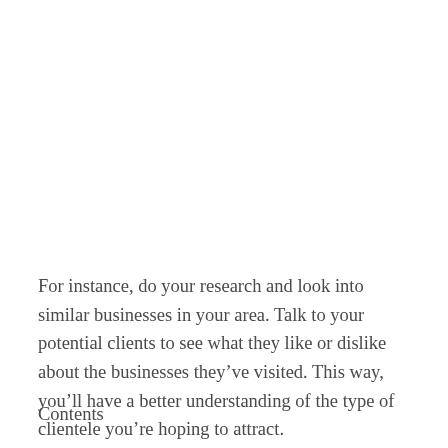For instance, do your research and look into similar businesses in your area. Talk to your potential clients to see what they like or dislike about the businesses they’ve visited. This way, you’ll have a better understanding of the type of clientele you’re hoping to attract.
Contents